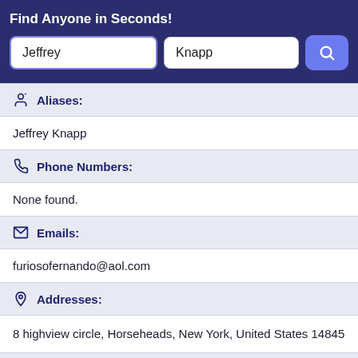Find Anyone in Seconds!
Jeffrey
Knapp
Aliases:
Jeffrey Knapp
Phone Numbers:
None found.
Emails:
furiosofernando@aol.com
Addresses:
8 highview circle, Horseheads, New York, United States 14845
Record Overview:
There are 1 Addresses for this record. 0 phone number records. Jeffrey Knapp has 1 other aliases